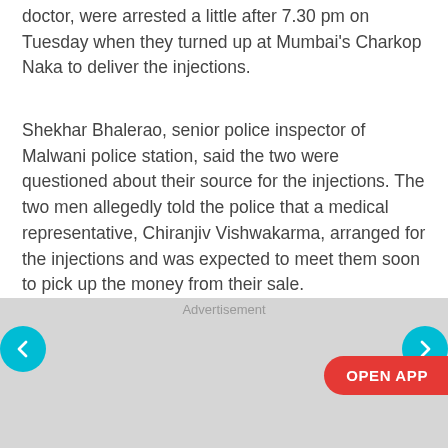doctor, were arrested a little after 7.30 pm on Tuesday when they turned up at Mumbai's Charkop Naka to deliver the injections.
Shekhar Bhalerao, senior police inspector of Malwani police station, said the two were questioned about their source for the injections. The two men allegedly told the police that a medical representative, Chiranjiv Vishwakarma, arranged for the injections and was expected to meet them soon to pick up the money from their sale.
Advertisement
[Figure (other): Navigation buttons (left and right arrows in teal circles) and an OPEN APP button in red, over a gray advertisement area]